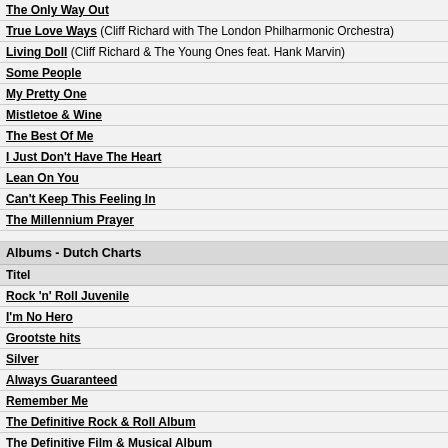The Only Way Out
True Love Ways (Cliff Richard with The London Philharmonic Orchestra)
Living Doll (Cliff Richard & The Young Ones feat. Hank Marvin)
Some People
My Pretty One
Mistletoe & Wine
The Best Of Me
I Just Don't Have The Heart
Lean On You
Can't Keep This Feeling In
The Millennium Prayer
Albums - Dutch Charts
Titel
Rock 'n' Roll Juvenile
I'm No Hero
Grootste hits
Silver
Always Guaranteed
Remember Me
The Definitive Rock & Roll Album
The Definitive Film & Musical Album
The Definitive Hit Album
The Definitive Love Album
The Hit List - The Best Of 35 Years
40 Years Of Hits In Holland
Rock & Ultimate Remixes...